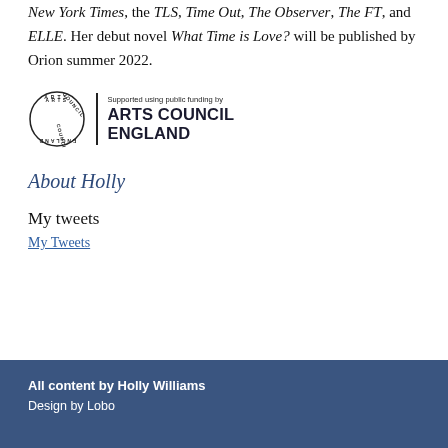New York Times, the TLS, Time Out, The Observer, The FT, and ELLE. Her debut novel What Time is Love? will be published by Orion summer 2022.
[Figure (logo): Arts Council England logo with circular emblem and text 'Supported using public funding by ARTS COUNCIL ENGLAND']
About Holly
My tweets
My Tweets
All content by Holly Williams
Design by Lobo